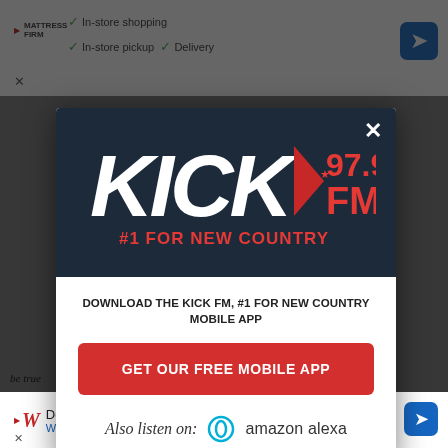[Figure (screenshot): Top advertisement bar for Mattress Firm showing in-store shopping, in-store pickup, and delivery options with checkmarks, and a blue directional arrow icon.]
[Figure (screenshot): KICK 97.9 FM modal popup overlay on a website. Header shows KICK FM logo with '#1 FOR NEW COUNTRY' tagline on dark blue background. Body has download prompt, red 'GET OUR FREE MOBILE APP' button, and 'Also listen on: amazon alexa' row. Background shows blurred article text and Walgreens ad.]
KICK 97.9 FM — #1 FOR NEW COUNTRY
DOWNLOAD THE KICK FM, #1 FOR NEW COUNTRY MOBILE APP
GET OUR FREE MOBILE APP
Also listen on: amazon alexa
be true                                                            words.
"I love                                                              "so I
[Figure (screenshot): Bottom Walgreens Photo advertisement: 'Delivered in as Little as 1 Hr' with Walgreens Photo branding and blue directional arrow icon.]